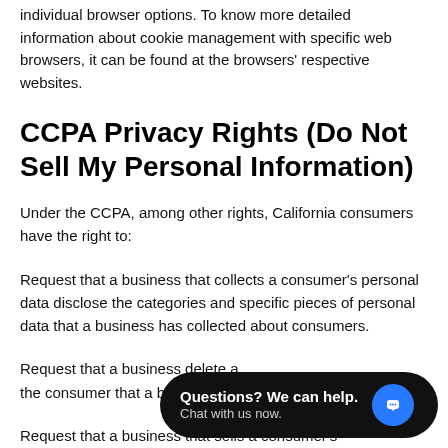individual browser options. To know more detailed information about cookie management with specific web browsers, it can be found at the browsers' respective websites.
CCPA Privacy Rights (Do Not Sell My Personal Information)
Under the CCPA, among other rights, California consumers have the right to:
Request that a business that collects a consumer's personal data disclose the categories and specific pieces of personal data that a business has collected about consumers.
Request that a business delete a... the consumer that a business ha...
Request that a business that sells a consumer's
[Figure (other): Chat widget overlay: dark rounded pill shape with text 'Questions? We can help. Chat with us now.' and a blue circular icon with a speech bubble.]